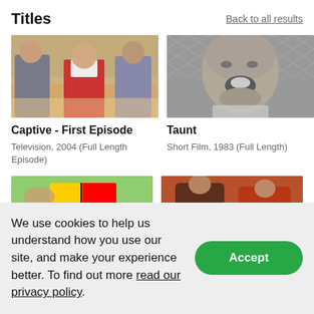Titles
Back to all results
[Figure (photo): Three people standing together in a hall, thumbnail for Captive - First Episode]
Captive - First Episode
Television, 2004 (Full Length Episode)
[Figure (photo): Black and white close-up of a man's face in front of chain-link fence, thumbnail for Taunt]
Taunt
Short Film, 1983 (Full Length)
[Figure (photo): Hands holding a Rubik's cube, thumbnail with clock icon]
[Figure (photo): Athletes wrestling or grappling, thumbnail with clock icon]
We use cookies to help us understand how you use our site, and make your experience better. To find out more read our privacy policy.